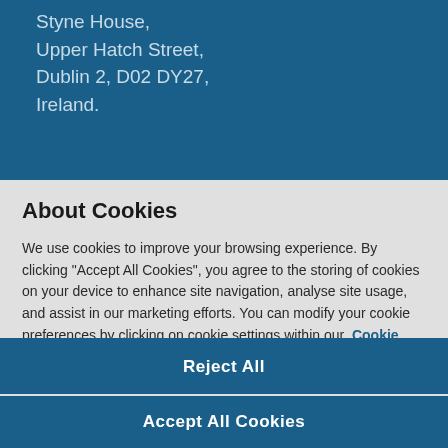Styne House,
Upper Hatch Street,
Dublin 2, D02 DY27,
Ireland.
Telephone:              +353 1 637 7600
About Cookies
We use cookies to improve your browsing experience. By clicking "Accept All Cookies", you agree to the storing of cookies on your device to enhance site navigation, analyse site usage, and assist in our marketing efforts. You can modify your cookie preferences by clicking on cookie settings within our   Cookie Policy
Cookies Settings
Reject All
Accept All Cookies